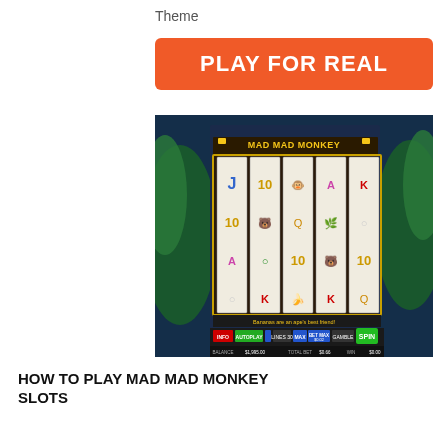Theme
PLAY FOR REAL
[Figure (screenshot): Screenshot of Mad Mad Monkey slot machine game showing 5 reels with various symbols including J, 10, A, K, coconuts, bananas, and monkey symbols. The game interface shows BALANCE $1,995.00, TOTAL BET $0.66, WIN $0.00, with buttons for INFO, AUTOPLAY, LINES 30, MAX, BET MAX $0.02, GAMBLE, and SPIN.]
HOW TO PLAY MAD MAD MONKEY SLOTS